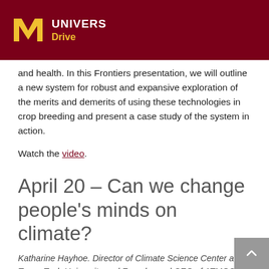UNIVERS Drive
and health. In this Frontiers presentation, we will outline a new system for robust and expansive exploration of the merits and demerits of using these technologies in crop breeding and present a case study of the system in action.
Watch the video.
April 20 – Can we change people's minds on climate?
Katharine Hayhoe. Director of Climate Science Center at Texas Tech University and Founder and CEO of ATMOS Research
Hayhoe's research focuses on establishing a scientific basis for assessing the regional to local-scale impacts of climate